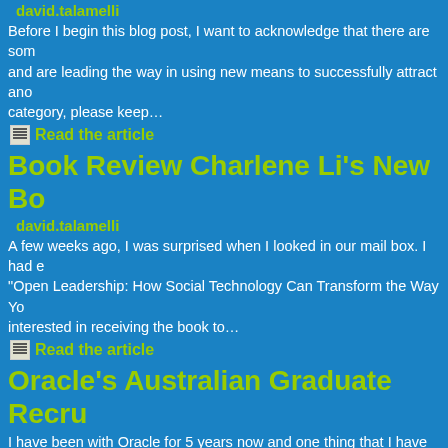david.talamelli
Before I begin this blog post, I want to acknowledge that there are som and are leading the way in using new means to successfully attract ano category, please keep…
Read the article
Book Review Charlene Li's New Bo
david.talamelli
A few weeks ago, I was surprised when I looked in our mail box. I had e "Open Leadership: How Social Technology Can Transform the Way Yo interested in receiving the book to…
Read the article
Oracle's Australian Graduate Recru
I have been with Oracle for 5 years now and one thing that I have foun last 5 years I have had the opportunity to work on projects across vario also across…
Read the article
Interviews Gone Bad.....Now What
We have all done it at some stage of our working careers - you know th yourself "why didn't I ask that question" or "I can't believe I said that" o everyone but…
Read the article
Your Job Search Should be More T